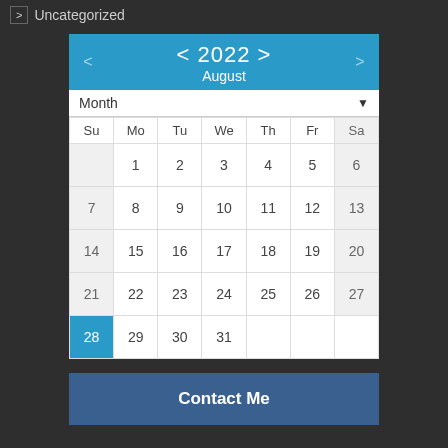> Uncategorized
[Figure (other): August 2022 monthly calendar widget with navigation arrows, year '< 2022 >', month 'August', a 'Month' dropdown, day headers Su Mo Tu We Th Fr Sa, and dates 1-31 with day 28 highlighted in blue.]
Contact Me